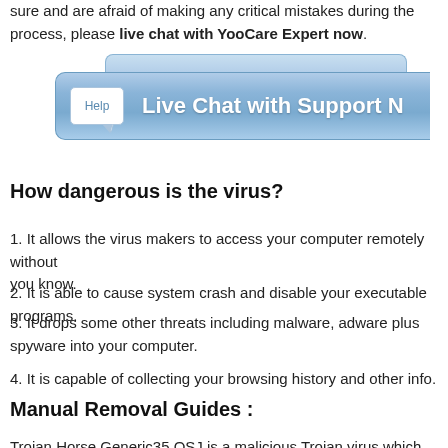sure and are afraid of making any critical mistakes during the process, please live chat with YooCare Expert now.
[Figure (screenshot): Blue Live Chat with Support Now button with Help speech bubble icon]
How dangerous is the virus?
1. It allows the virus makers to access your computer remotely without you know.
2. It is able to cause system crash and disable your executable programs.
3. It drops some other threats including malware, adware and spyware into your computer.
4. It is capable of collecting your browsing history and other info.
Manual Removal Guides :
Trojan Horse Generic35.QSJ is a malicious Trojan virus which infiltrates into the computer system without your consent and awareness.